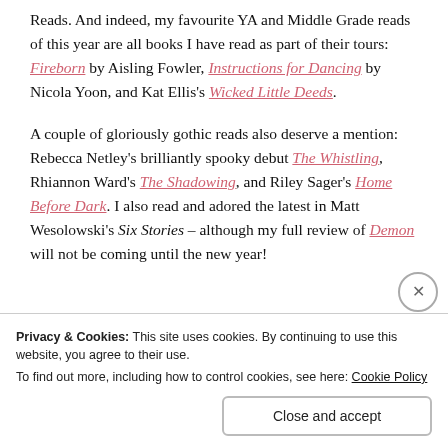Reads. And indeed, my favourite YA and Middle Grade reads of this year are all books I have read as part of their tours: Fireborn by Aisling Fowler, Instructions for Dancing by Nicola Yoon, and Kat Ellis's Wicked Little Deeds.
A couple of gloriously gothic reads also deserve a mention: Rebecca Netley's brilliantly spooky debut The Whistling, Rhiannon Ward's The Shadowing, and Riley Sager's Home Before Dark. I also read and adored the latest in Matt Wesolowski's Six Stories – although my full review of Demon will not be coming until the new year!
[Figure (photo): Partial view of a book cover strip with blue and orange/gold colors, partially obscured by cookie banner]
Privacy & Cookies: This site uses cookies. By continuing to use this website, you agree to their use.
To find out more, including how to control cookies, see here: Cookie Policy